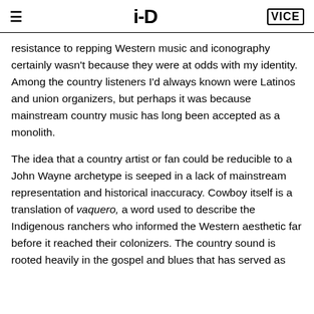i-D  VICE
resistance to repping Western music and iconography certainly wasn't because they were at odds with my identity. Among the country listeners I'd always known were Latinos and union organizers, but perhaps it was because mainstream country music has long been accepted as a monolith.
The idea that a country artist or fan could be reducible to a John Wayne archetype is seeped in a lack of mainstream representation and historical inaccuracy. Cowboy itself is a translation of vaquero, a word used to describe the Indigenous ranchers who informed the Western aesthetic far before it reached their colonizers. The country sound is rooted heavily in the gospel and blues that has served as